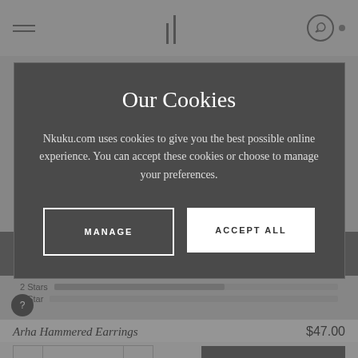[Figure (screenshot): Background e-commerce page (Nkuku) showing navigation bar, star rating rows, and product listing for Arha Hammered Earrings at $47.00 with QTY 1 selector and ADD TO BASKET button, dimmed behind a cookie consent modal overlay.]
Our Cookies
Nkuku.com uses cookies to give you the best possible online experience. You can accept these cookies or choose to manage your preferences.
MANAGE
ACCEPT ALL